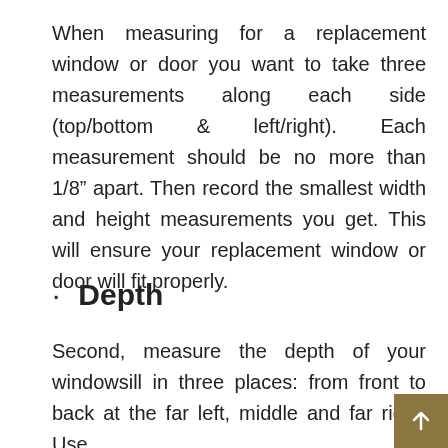When measuring for a replacement window or door you want to take three measurements along each side (top/bottom & left/right). Each measurement should be no more than 1/8" apart. Then record the smallest width and height measurements you get. This will ensure your replacement window or door will fit properly.
· Depth
Second, measure the depth of your windowsill in three places: from front to back at the far left, middle and far right. Use the smallest...